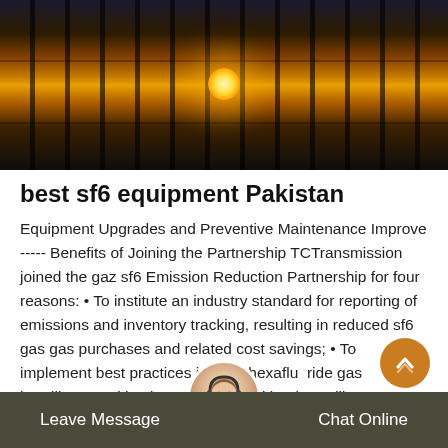[Figure (photo): Industrial equipment scene photographed at sunset/dusk with orange sky and silhouetted structures, dark foreground]
best sf6 equipment Pakistan
Equipment Upgrades and Preventive Maintenance Improve ----- Benefits of Joining the Partnership TCTransmission joined the gaz sf6 Emission Reduction Partnership for four reasons: • To institute an industry standard for reporting of emissions and inventory tracking, resulting in reduced sf6 gas gas purchases and related cost savings; • To implement best practices in Sulfr hexafluoride gas handling, resulting in emissions rate with other utility Partners ... in
[Figure (other): Chat widget with female customer service avatar with headset, orange scroll-to-top button, and dark chat bar with Leave Message and Chat Online options]